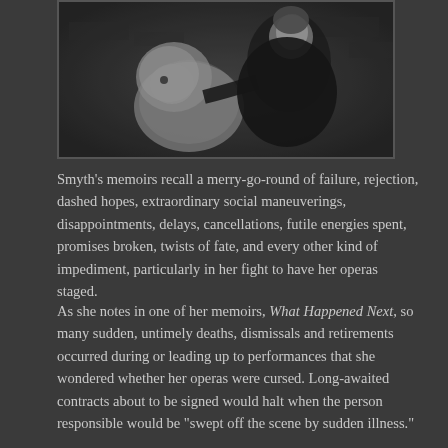[Figure (photo): Black and white photograph of a woman (Smyth) with a large shaggy dog, positioned outdoors near a stone wall.]
Smyth's memoirs recall a merry-go-round of failure, rejection, dashed hopes, extraordinary social maneuverings, disappointments, delays, cancellations, futile energies spent, promises broken, twists of fate, and every other kind of impediment, particularly in her fight to have her operas staged.
As she notes in one of her memoirs, What Happened Next, so many sudden, untimely deaths, dismissals and retirements occurred during or leading up to performances that she wondered whether her operas were cursed. Long-awaited contracts about to be signed would halt when the person responsible would be "swept off the scene by sudden illness."